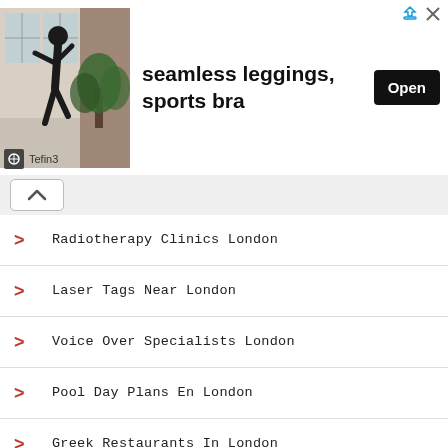[Figure (infographic): Advertisement banner showing a person in athletic pose (seamless leggings, sports bra) with Open button and Tefin3 brand logo. Icons for share/close in top right.]
Radiotherapy Clinics London
Laser Tags Near London
Voice Over Specialists London
Pool Day Plans En London
Greek Restaurants In London
Stores To Buy Women's Plus Size Bras London
Packaging Companies In London
Caravan Camp Sites London
Latin Supermarkets London
Knightbridge In London